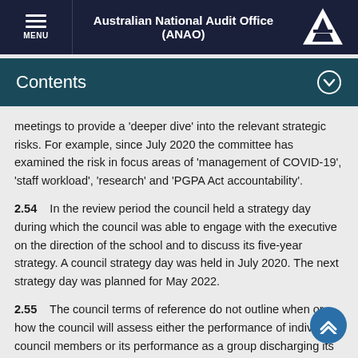Australian National Audit Office (ANAO)
Contents
meetings to provide a 'deeper dive' into the relevant strategic risks. For example, since July 2020 the committee has examined the risk in focus areas of 'management of COVID-19', 'staff workload', 'research' and 'PGPA Act accountability'.
2.54    In the review period the council held a strategy day during which the council was able to engage with the executive on the direction of the school and to discuss its five-year strategy. A council strategy day was held in July 2020. The next strategy day was planned for May 2022.
2.55    The council terms of reference do not outline when or how the council will assess either the performance of individual council members or its performance as a group discharging its legislative functions.